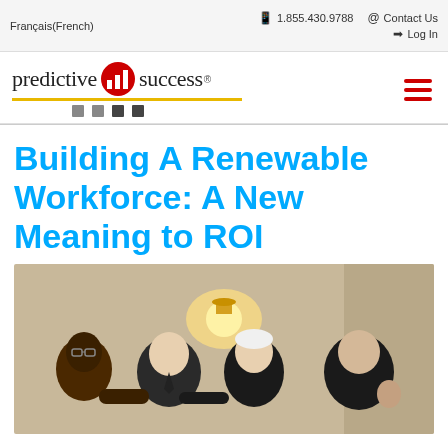Français(French)  |  1.855.430.9788  |  Contact Us  |  Log In
[Figure (logo): Predictive Success logo with red circle icon containing bar chart, gold underline, and navigation dots]
Building A Renewable Workforce: A New Meaning to ROI
[Figure (photo): Group photo of four people posing together in a conference or hotel setting with a wall lamp in the background]